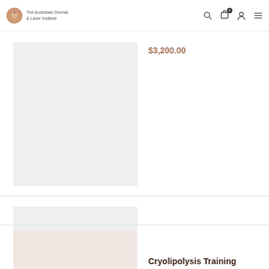The Australian Dermal & Laser Institute
$3,200.00
Cryolipolysis Training
From
$1,166.00 | $2,332.00